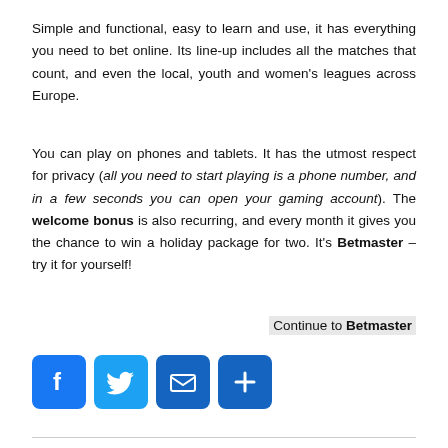Simple and functional, easy to learn and use, it has everything you need to bet online. Its line-up includes all the matches that count, and even the local, youth and women's leagues across Europe.
You can play on phones and tablets. It has the utmost respect for privacy (all you need to start playing is a phone number, and in a few seconds you can open your gaming account). The welcome bonus is also recurring, and every month it gives you the chance to win a holiday package for two. It's Betmaster – try it for yourself!
Continue to Betmaster
[Figure (other): Four social sharing icon buttons: Facebook (blue), Twitter (light blue), Email (dark blue envelope), Share/Plus (dark blue plus sign)]